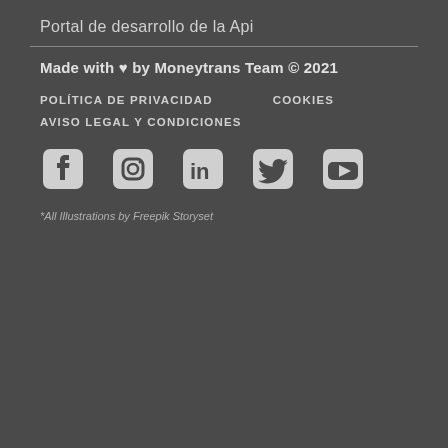Portal de desarrollo de la Api
Made with ♥ by Moneytrans Team © 2021
POLÍTICA DE PRIVACIDAD
COOKIES
AVISO LEGAL Y CONDICIONES
[Figure (illustration): Social media icons: Facebook, Instagram, LinkedIn, Twitter, YouTube]
*All Illustrations by Freepik Storyset